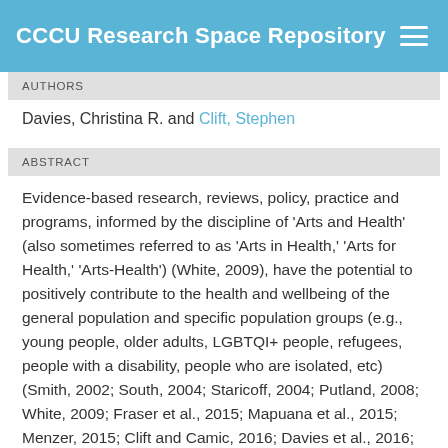CCCU Research Space Repository
AUTHORS
Davies, Christina R. and Clift, Stephen
ABSTRACT
Evidence-based research, reviews, policy, practice and programs, informed by the discipline of ‘Arts and Health’ (also sometimes referred to as ‘Arts in Health,’ ‘Arts for Health,’ ‘Arts-Health’) (White, 2009), have the potential to positively contribute to the health and wellbeing of the general population and specific population groups (e.g., young people, older adults, LGBTQI+ people, refugees, people with a disability, people who are isolated, etc) (Smith, 2002; South, 2004; Staricoff, 2004; Putland, 2008; White, 2009; Fraser et al., 2015; Mapuana et al., 2015; Menzer, 2015; Clift and Camic, 2016; Davies et al., 2016; Wreford, 2016; Zarobe and Bungay, 2017;